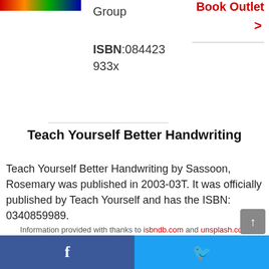[Figure (illustration): Colorful book image strip at top left]
Group
Book Outlet >
ISBN:084423 933x
Teach Yourself Better Handwriting
Teach Yourself Better Handwriting by Sassoon, Rosemary was published in 2003-03T. It was officially published by Teach Yourself and has the ISBN: 0340859989.
Information provided with thanks to isbndb.com and unsplash.com
[Figure (screenshot): Social share bar with Facebook and Twitter buttons at bottom]